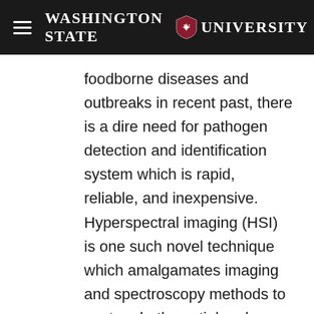Washington State University
foodborne diseases and outbreaks in recent past, there is a dire need for pathogen detection and identification system which is rapid, reliable, and inexpensive. Hyperspectral imaging (HSI) is one such novel technique which amalgamates imaging and spectroscopy methods to capture both spatial and spectral features of bacterial cells. The HSI system built by us utilizes spectral signatures of respective pathogens for rapid